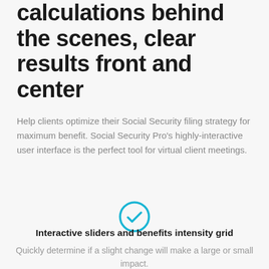calculations behind the scenes, clear results front and center
Help clients optimize their Social Security filing strategy for maximum benefit. Social Security Pro’s highly-interactive user interface is the perfect tool for virtual client meetings.
[Figure (illustration): Teal/blue circle checkmark icon]
Interactive sliders and benefits intensity grid
Quickly determine if a slight change will make a large or small impact.